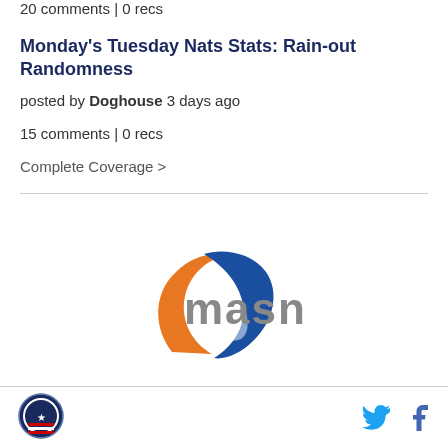20 comments | 0 recs
Monday's Tuesday Nats Stats: Rain-out Randomness
posted by Doghouse 3 days ago
15 comments | 0 recs
Complete Coverage >
[Figure (logo): MASN sports network logo with orange and blue swoosh graphic]
Footer with site logo and Twitter/Facebook social icons